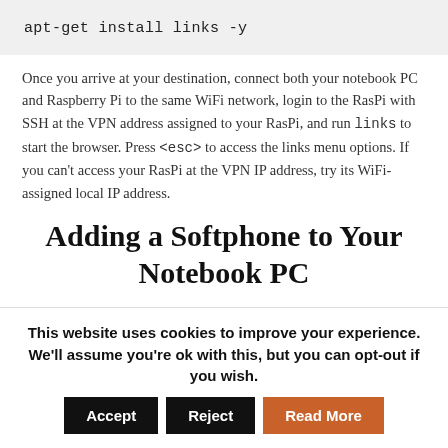apt-get install links -y
Once you arrive at your destination, connect both your notebook PC and Raspberry Pi to the same WiFi network, login to the RasPi with SSH at the VPN address assigned to your RasPi, and run links to start the browser. Press <esc> to access the links menu options. If you can't access your RasPi at the VPN IP address, try its WiFi-assigned local IP address.
Adding a Softphone to Your Notebook PC
Last, but not least, you obviously need a way to make and receive
This website uses cookies to improve your experience. We'll assume you're ok with this, but you can opt-out if you wish.